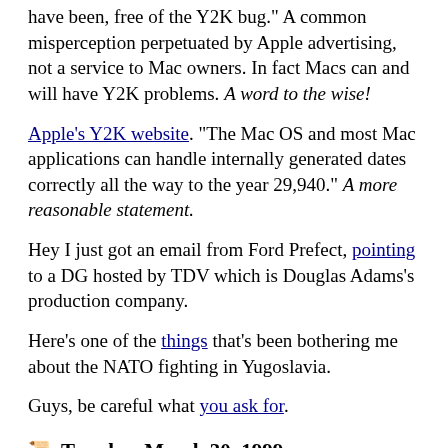have been, free of the Y2K bug." A common misperception perpetuated by Apple advertising, not a service to Mac owners. In fact Macs can and will have Y2K problems. A word to the wise!
Apple's Y2K website. "The Mac OS and most Mac applications can handle internally generated dates correctly all the way to the year 29,940." A more reasonable statement.
Hey I just got an email from Ford Prefect, pointing to a DG hosted by TDV which is Douglas Adams's production company.
Here's one of the things that's been bothering me about the NATO fighting in Yugoslavia.
Guys, be careful what you ask for.
Tuesday, March 30, 1999
DaveNet: MS Stock Glitch?
Welcome to Vanderbilt Medical Center Reporter and